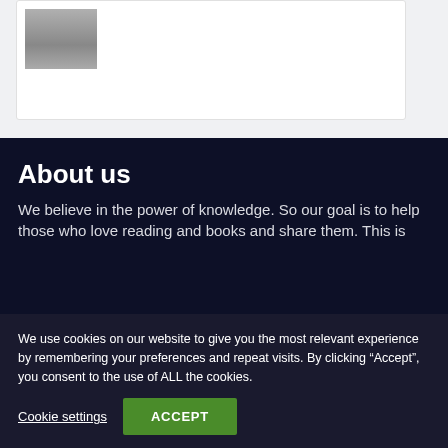[Figure (photo): Partial thumbnail image showing a room/interior, black and white]
About us
We believe in the power of knowledge. So our goal is to help those who love reading and books and share them. This is
We use cookies on our website to give you the most relevant experience by remembering your preferences and repeat visits. By clicking “Accept”, you consent to the use of ALL the cookies.
Cookie settings  ACCEPT